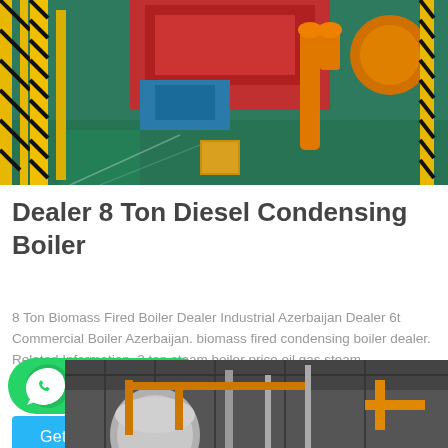[Figure (photo): Industrial boiler manufacturing facility with yellow metal frames, machinery, and a green floor]
Dealer 8 Ton Diesel Condensing Boiler
8 Ton Biomass Fired Boiler Dealer Industrial Azerbaijan Dealer 6t Commercial Boiler Azerbaijan. biomass fired condensing boiler dealer. Related Information. 2 ton steam boiler price oil gas steam...
[Figure (infographic): WhatsApp contact badge with green background and phone icon]
[Figure (photo): Industrial boiler equipment with piping and overhead structure]